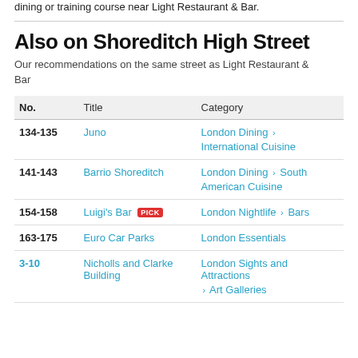dining or training course near Light Restaurant & Bar.
Also on Shoreditch High Street
Our recommendations on the same street as Light Restaurant & Bar
| No. | Title | Category |
| --- | --- | --- |
| 134-135 | Juno | London Dining > International Cuisine |
| 141-143 | Barrio Shoreditch | London Dining > South American Cuisine |
| 154-158 | Luigi's Bar PICK | London Nightlife > Bars |
| 163-175 | Euro Car Parks | London Essentials |
| 3-10 | Nicholls and Clarke Building | London Sights and Attractions > Art Galleries |